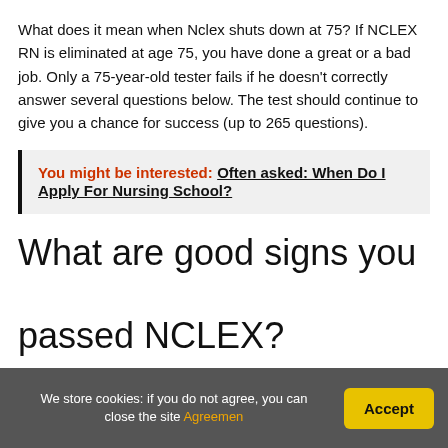What does it mean when Nclex shuts down at 75? If NCLEX RN is eliminated at age 75, you have done a great or a bad job. Only a 75-year-old tester fails if he doesn't correctly answer several questions below. The test should continue to give you a chance for success (up to 265 questions).
You might be interested: Often asked: When Do I Apply For Nursing School?
What are good signs you passed NCLEX?
The questions are randomly selected as well, so no one
We store cookies: if you do not agree, you can close the site Agreemen  Accept